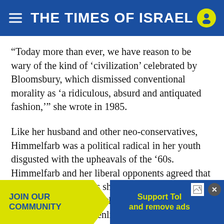THE TIMES OF ISRAEL
“Today more than ever, we have reason to be wary of the kind of ‘civilization’ celebrated by Bloomsbury, which dismissed conventional morality as ‘a ridiculous, absurd and antiquated fashion,’” she wrote in 1985.
Like her husband and other neo-conservatives, Himmelfarb was a political radical in her youth disgusted with the upheavals of the ’60s. Himmelfarb and her liberal opponents agreed that Victorian “virtues,” as she preferred to call them, had been discredited in the 20th century. Yet their fall was not a sign of enlightenment and brea